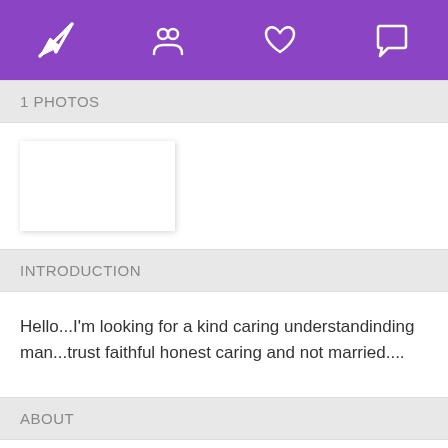[Figure (screenshot): Purple top navigation bar with four white icons: paper plane (send), person (profile), heart (likes), speech bubble (messages)]
1 PHOTOS
[Figure (other): White photo placeholder thumbnail with drop shadow]
INTRODUCTION
Hello...I'm looking for a kind caring understandinding man...trust faithful honest caring and not married....
ABOUT
GENERAL DETAILS